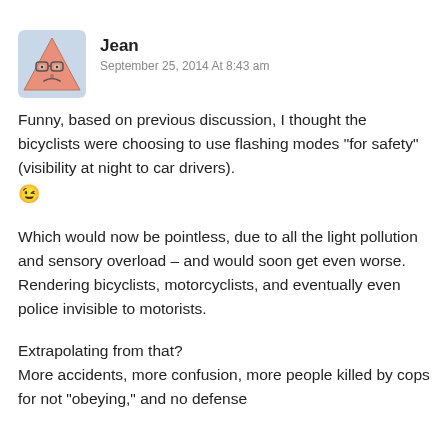[Figure (illustration): Avatar image of user Jean — a cartoon triangle-shaped character with glasses and a frowning expression, pinkish-orange color with rounded corners]
Jean
September 25, 2014 At 8:43 am
Funny, based on previous discussion, I thought the bicyclists were choosing to use flashing modes “for safety” (visibility at night to car drivers). 😉
Which would now be pointless, due to all the light pollution and sensory overload – and would soon get even worse. Rendering bicyclists, motorcyclists, and eventually even police invisible to motorists.
Extrapolating from that?
More accidents, more confusion, more people killed by cops for not “obeying,” and no defense